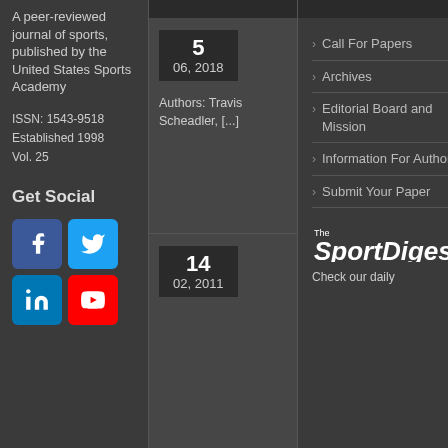A peer-reviewed journal of sports, published by the United States Sports Academy
ISSN: 1543-9518
Established 1998
Vol. 25
Get Social
[Figure (other): Social media icons: Facebook, Twitter, LinkedIn, YouTube]
[Figure (other): Top dark bar at top of middle column]
5
06, 2018
Authors: Travis Scheadler, [...]
14
02, 2011
[Figure (other): Top dark bar at top of right column]
Call For Papers
Archives
Editorial Board and Mission
Information For Authors
Submit Your Paper
[Figure (logo): The Sport Digest logo]
Check our daily